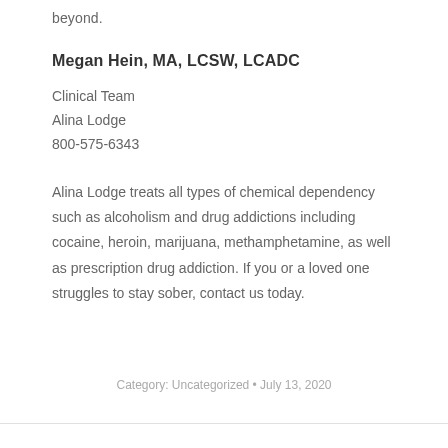beyond.
Megan Hein, MA, LCSW, LCADC
Clinical Team
Alina Lodge
800-575-6343
Alina Lodge treats all types of chemical dependency such as alcoholism and drug addictions including cocaine, heroin, marijuana, methamphetamine, as well as prescription drug addiction. If you or a loved one struggles to stay sober, contact us today.
Category: Uncategorized • July 13, 2020